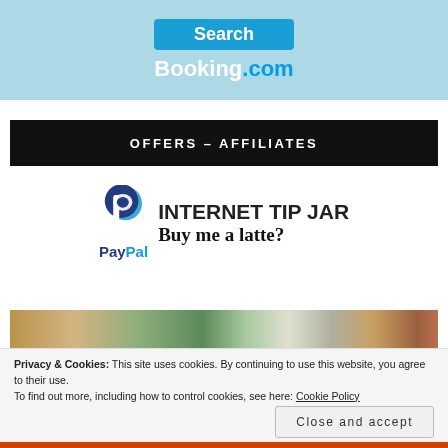[Figure (logo): Booking.com Search button and logo on light blue background]
OFFERS – AFFILIATES
[Figure (logo): PayPal logo with Internet Tip Jar / Buy me a latte? text]
[Figure (photo): Photo strip showing outdoor scene]
Privacy & Cookies: This site uses cookies. By continuing to use this website, you agree to their use.
To find out more, including how to control cookies, see here: Cookie Policy
Close and accept